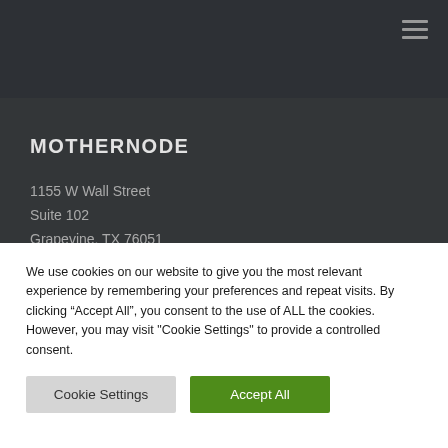MOTHERNODE
1155 W Wall Street
Suite 102
Grapevine, TX 76051
North America
(800) 928-6055
Europe
We use cookies on our website to give you the most relevant experience by remembering your preferences and repeat visits. By clicking “Accept All”, you consent to the use of ALL the cookies. However, you may visit "Cookie Settings" to provide a controlled consent.